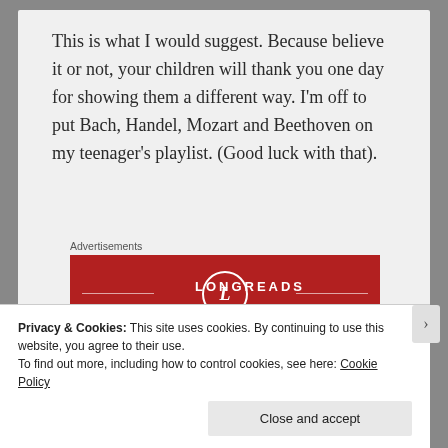This is what I would suggest.  Because believe it or not, your children will thank you one day for showing them a different way.  I'm off to put Bach, Handel, Mozart and Beethoven on my teenager's playlist.  (Good luck with that).
Advertisements
[Figure (logo): Longreads advertisement banner with red background, circular L logo, brand name LONGREADS, and tagline 'The best stories on the web']
Privacy & Cookies: This site uses cookies. By continuing to use this website, you agree to their use.
To find out more, including how to control cookies, see here: Cookie Policy
Close and accept